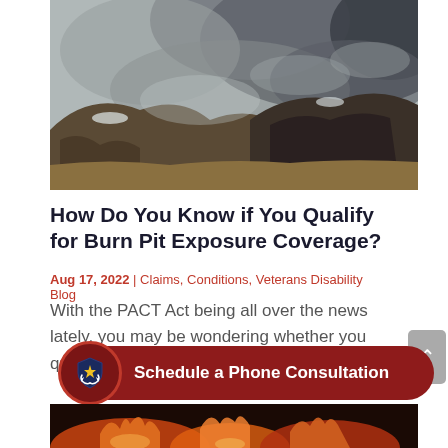[Figure (photo): Outdoor landscape photo showing rocky hills or a landfill site with smoke and smoldering material, suggesting a burn pit environment. Rocky terrain with dry grass and dark smoke billowing upward.]
How Do You Know if You Qualify for Burn Pit Exposure Coverage?
Aug 17, 2022 | Claims, Conditions, Veterans Disability Blog
With the PACT Act being all over the news lately, you may be wondering whether you qualify for compensation or...
[Figure (illustration): Schedule a Phone Consultation call-to-action button with a dark red background, rounded pill shape, and a circular icon showing a shield with a star and arrows.]
[Figure (photo): Partial photo at the bottom showing orange fire flames, likely related to burn pits.]